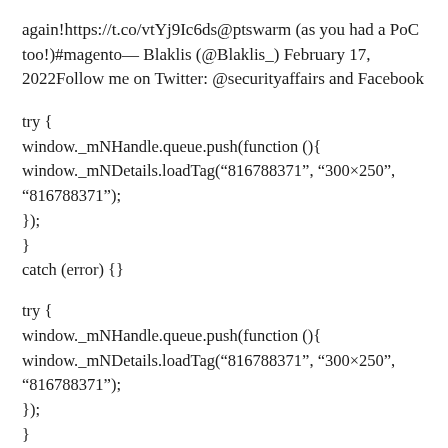again!https://t.co/vtYj9Ic6ds@ptswarm (as you had a PoC too!)#magento— Blaklis (@Blaklis_) February 17, 2022Follow me on Twitter: @securityaffairs and Facebook
try {
window._mNHandle.queue.push(function (){
window._mNDetails.loadTag("816788371", "300×250", "816788371");
});
}
catch (error) {}
try {
window._mNHandle.queue.push(function (){
window._mNDetails.loadTag("816788371", "300×250", "816788371");
});
}